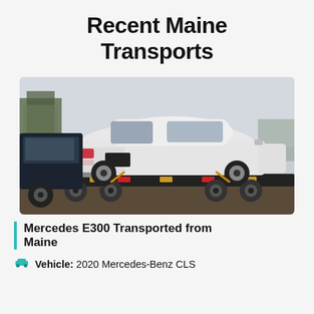Recent Maine Transports
[Figure (photo): White Mercedes sedan loaded on a flatbed car transport trailer, viewed from the rear three-quarter angle, outdoors with trees and overcast sky in background.]
Mercedes E300 Transported from Maine
Vehicle: 2020 Mercedes-Benz CLS